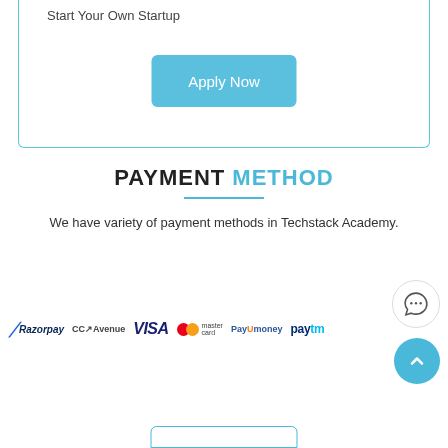Start Your Own Startup
Apply Now
PAYMENT METHOD
We have variety of payment methods in Techstack Academy.
[Figure (logo): Payment method logos: Razorpay, CC Avenue, VISA, Mastercard, PayUmoney, Paytm]
[Figure (illustration): Chat/phone icon in circular button and scroll-up arrow in blue circular button]